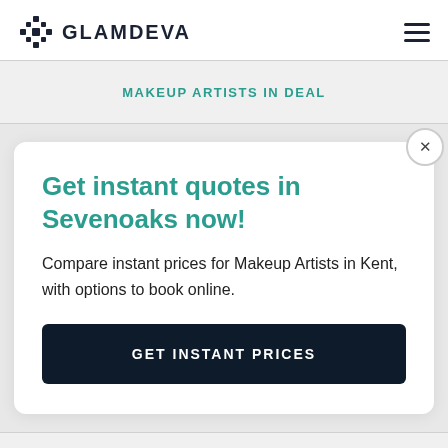GLAMDEVA
MAKEUP ARTISTS IN DEAL
Get instant quotes in Sevenoaks now!
Compare instant prices for Makeup Artists in Kent, with options to book online.
GET INSTANT PRICES
MAKEUP ARTISTS IN BROADSTAIRS